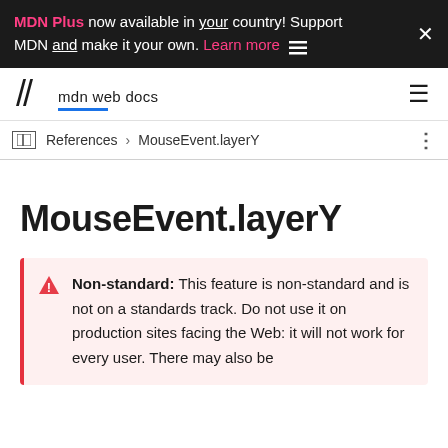MDN Plus now available in your country! Support MDN and make it your own. Learn more
mdn web docs
References > MouseEvent.layerY
MouseEvent.layerY
Non-standard: This feature is non-standard and is not on a standards track. Do not use it on production sites facing the Web: it will not work for every user. There may also be